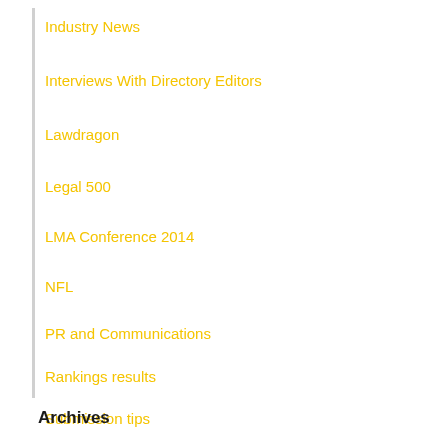Industry News
Interviews With Directory Editors
Lawdragon
Legal 500
LMA Conference 2014
NFL
PR and Communications
Rankings results
Submission tips
Uncategorized
Archives